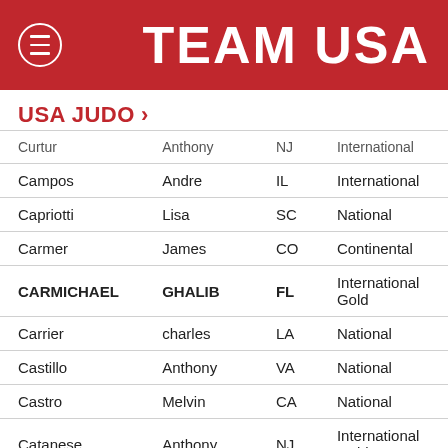TEAM USA
USA JUDO >
| Last Name | First Name | State | Level |
| --- | --- | --- | --- |
| Curtur | Anthony | NJ | International |
| Campos | Andre | IL | International |
| Capriotti | Lisa | SC | National |
| Carmer | James | CO | Continental |
| CARMICHAEL | GHALIB | FL | International Gold |
| Carrier | charles | LA | National |
| Castillo | Anthony | VA | National |
| Castro | Melvin | CA | National |
| Catanese | Anthony | NJ | International Gold |
| Chagas | Robson | NJ | National |
| Chalmeau | Michele | MN | National |
| Chandler | Carrie | TX | International |